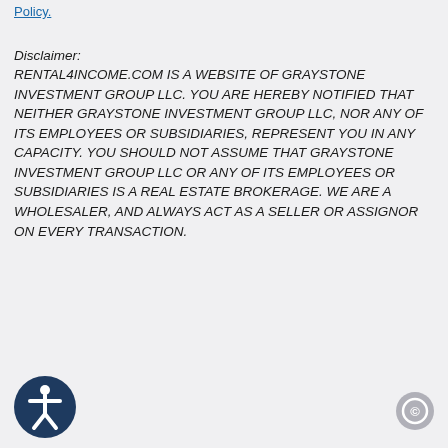Policy.
Disclaimer:
RENTAL4INCOME.COM IS A WEBSITE OF GRAYSTONE INVESTMENT GROUP LLC. YOU ARE HEREBY NOTIFIED THAT NEITHER GRAYSTONE INVESTMENT GROUP LLC, NOR ANY OF ITS EMPLOYEES OR SUBSIDIARIES, REPRESENT YOU IN ANY CAPACITY. YOU SHOULD NOT ASSUME THAT GRAYSTONE INVESTMENT GROUP LLC OR ANY OF ITS EMPLOYEES OR SUBSIDIARIES IS A REAL ESTATE BROKERAGE. WE ARE A WHOLESALER, AND ALWAYS ACT AS A SELLER OR ASSIGNOR ON EVERY TRANSACTION.
[Figure (other): Accessibility icon button — circular dark navy blue button with a white person/accessibility symbol]
[Figure (other): Copyright icon button — circular grey button with a copyright symbol]